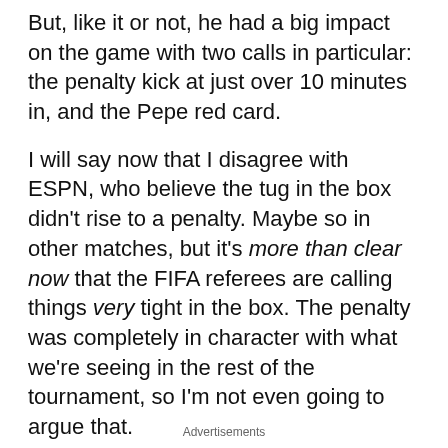But, like it or not, he had a big impact on the game with two calls in particular: the penalty kick at just over 10 minutes in, and the Pepe red card.
I will say now that I disagree with ESPN, who believe the tug in the box didn't rise to a penalty. Maybe so in other matches, but it's more than clear now that the FIFA referees are calling things very tight in the box. The penalty was completely in character with what we're seeing in the rest of the tournament, so I'm not even going to argue that.
What can be argued are the two red card calls:
One during the above penalty, when Mazic showed only a yellow, and one for Pepe being a dumbass.
Advertisements